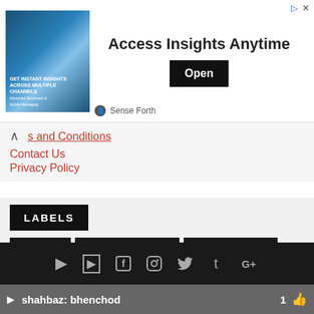[Figure (screenshot): Advertisement banner: 'Access Insights Anytime' with Open button and Sense Forth branding]
s and Conditions
Contact Us
Privacy Policy
LABELS
Art Things
Controversial Stories
Creative Thoughts
Top 10
SHORT STORIES
Bachelor
Bachelor Review
Gv Prakash
Tamil Movie Bachelor
Tamil Movie Bachelor Review
[Figure (infographic): Social media icons row: YouTube, Facebook, Instagram, Twitter, Tumblr, Google+]
shahbaz: bhenchod  1